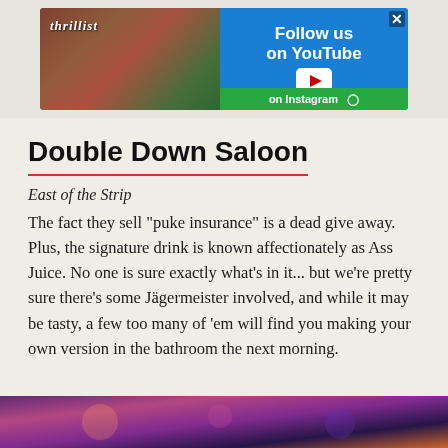[Figure (screenshot): Thrillist advertisement banner with YouTube follow call to action and green Instagram bar at bottom]
Double Down Saloon
East of the Strip
The fact they sell "puke insurance" is a dead give away. Plus, the signature drink is known affectionately as Ass Juice. No one is sure exactly what's in it... but we're pretty sure there's some Jägermeister involved, and while it may be tasty, a few too many of 'em will find you making your own version in the bathroom the next morning.
[Figure (photo): Bottom photo strip showing nightlife/bar scene with purple and orange lighting]